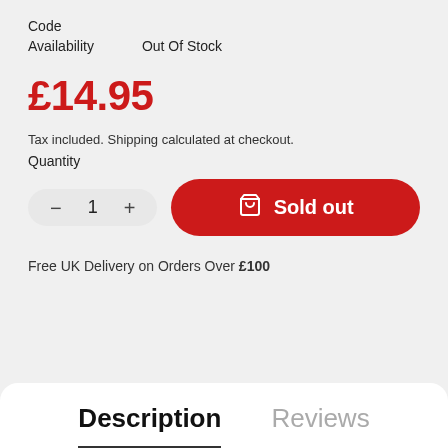Code
Availability    Out Of Stock
£14.95
Tax included. Shipping calculated at checkout.
Quantity
[Figure (screenshot): Quantity selector with minus button, 1, plus button; and a red 'Sold out' button with cart icon]
Free UK Delivery on Orders Over £100
Description    Reviews